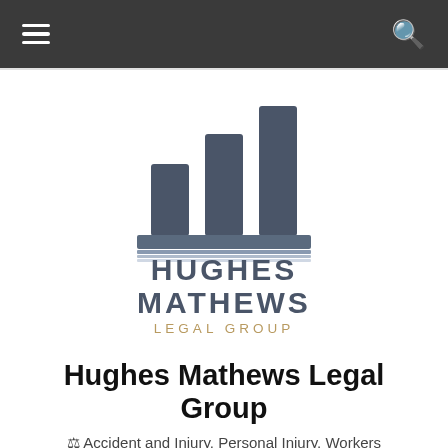Navigation bar with hamburger menu and search icon
[Figure (logo): Hughes Mathews Legal Group logo: three dark grey vertical bar columns of increasing height above a horizontal base/pedestal, with text HUGHES MATHEWS in dark grey and LEGAL GROUP in tan/gold below]
Hughes Mathews Legal Group
⚖ Accident and Injury, Personal Injury, Workers Compensation